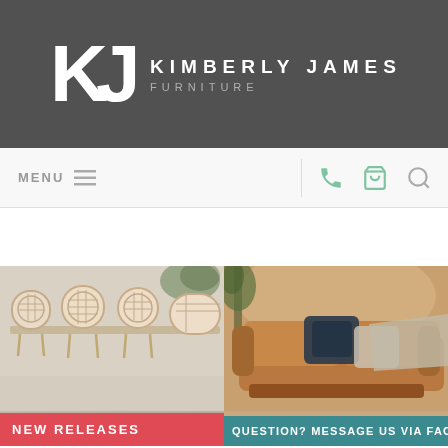[Figure (logo): Kimberly James Furniture logo with KJ monogram on dark grey background]
[Figure (screenshot): Website navigation bar with MENU, hamburger icon, phone, cart, and search icons]
[Figure (photo): Left: rattan/wicker dining chairs around a table with red NEW RELEASES banner. Right: brown leather sofa with pillows and teal QUESTION? MESSAGE US VIA FACEBOOK banner.]
KJ VIP MEMBERSHIP